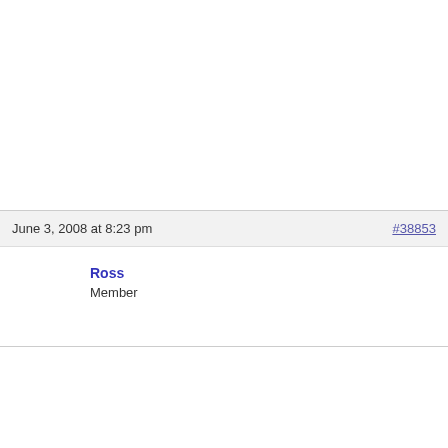June 3, 2008 at 8:23 pm
#38853
Ross
Member